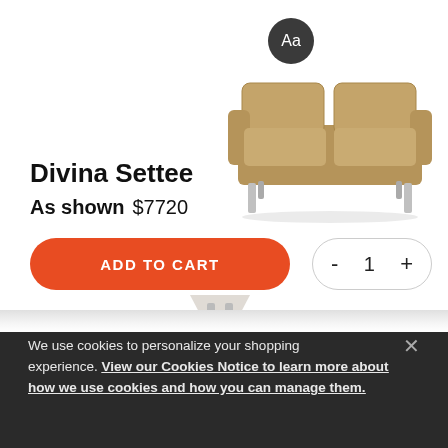[Figure (illustration): Small circular icon with 'Aa' text on dark background, representing font/text settings]
[Figure (photo): Tan/beige two-seat sofa (settee) with chrome legs on a white background]
Divina Settee
As shown  $7720
ADD TO CART
- 1 +
We use cookies to personalize your shopping experience. View our Cookies Notice to learn more about how we use cookies and how you can manage them.